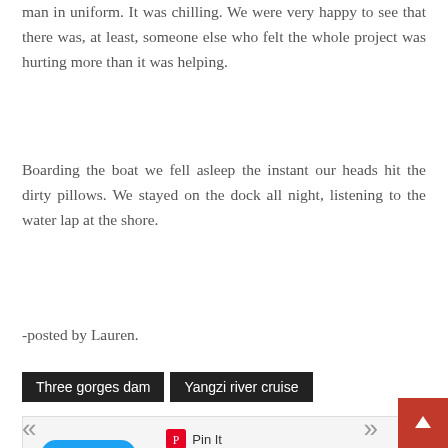man in uniform. It was chilling. We were very happy to see that there was, at least, someone else who felt the whole project was hurting more than it was helping.
Boarding the boat we fell asleep the instant our heads hit the dirty pillows. We stayed on the dock all night, listening to the water lap at the shore.
-posted by Lauren.
Three gorges dam
Yangzi river cruise
[Figure (screenshot): Social sharing buttons: Tweet (Twitter), Pin It (Pinterest), Like 0 (Facebook)]
[Figure (other): Back to top red button with upward arrow, navigation previous (<<) and next (>>) arrows]